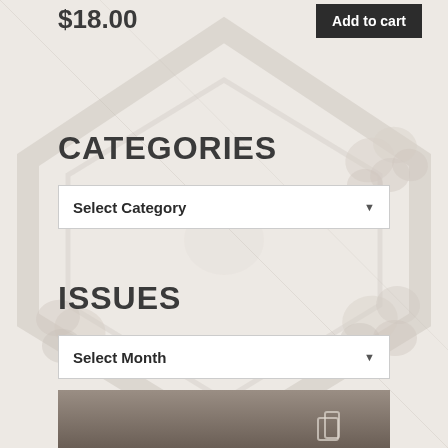$18.00
Add to cart
CATEGORIES
Select Category
ISSUES
Select Month
[Figure (photo): Partial dark-toned image visible at bottom of page, appears to be a product or magazine cover thumbnail]